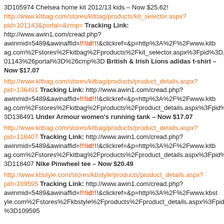3D105974 Chelsea home kit 2012/13 kids – Now $25.62! http://www.kitbag.com/stores/kitbag/products/kit_selector.aspx?pid=101143&portal=&cmp= Tracking Link: http://www.awin1.com/cread.php?awinmid=5489&awinaffid=!!!id!!!&clickref=&p=http%3A%2F%2Fwww.kitbag.com%2Fstores%2Fkitbag%2Fproducts%2Fkit_selector.aspx%3Fpid%3D101143%26portal%3D%26cmp%3D British & Irish Lions adidas t-shirt – Now $17.07
http://www.kitbag.com/stores/kitbag/products/product_details.aspx?pid=136491 Tracking Link: http://www.awin1.com/cread.php?awinmid=5489&awinaffid=!!!id!!!&clickref=&p=http%3A%2F%2Fwww.kitbag.com%2Fstores%2Fkitbag%2Fproducts%2Fproduct_details.aspx%3Fpid%3D136491 Under Armour women's running tank – Now $17.07
http://www.kitbag.com/stores/kitbag/products/product_details.aspx?pid=118407 Tracking Link: http://www.awin1.com/cread.php?awinmid=5489&awinaffid=!!!id!!!&clickref=&p=http%3A%2F%2Fwww.kitbag.com%2Fstores%2Fkitbag%2Fproducts%2Fproduct_details.aspx%3Fpid%3D118407 Nike Pinwheel tee – Now $20.49
http://www.kbstyle.com/stores/kbstyle/products/product_details.aspx?pid=109595 Tracking Link: http://www.awin1.com/cread.php?awinmid=5489&awinaffid=!!!id!!!&clickref=&p=http%3A%2F%2Fwww.kbstyle.com%2Fstores%2Fkbstyle%2Fproducts%2Fproduct_details.aspx%3Fpid%3D109595